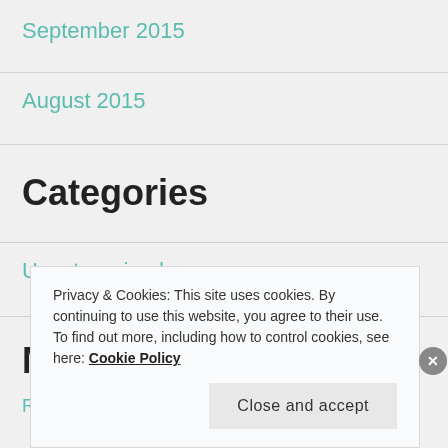September 2015
August 2015
Categories
Uncategorized
Meta
Privacy & Cookies: This site uses cookies. By continuing to use this website, you agree to their use.
To find out more, including how to control cookies, see here: Cookie Policy
Close and accept